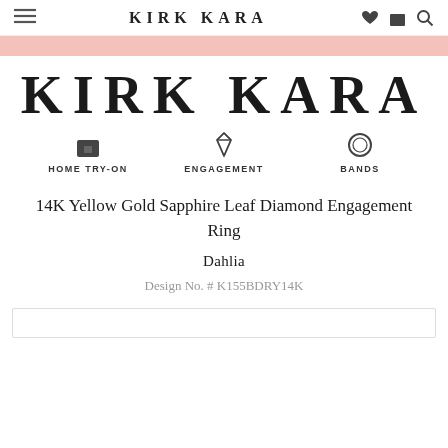KIRK KARA
[Figure (logo): Kirk Kara large brand logo in serif bold uppercase letters]
HOME TRY-ON   ENGAGEMENT   BANDS
14K Yellow Gold Sapphire Leaf Diamond Engagement Ring
Dahlia
Design No. # K155BDRY14K